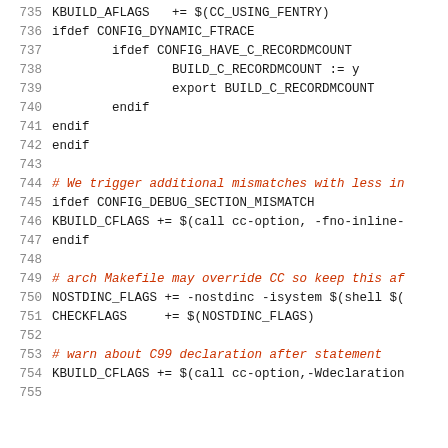735  KBUILD_AFLAGS   += $(CC_USING_FENTRY)
736  ifdef CONFIG_DYNAMIC_FTRACE
737          ifdef CONFIG_HAVE_C_RECORDMCOUNT
738                  BUILD_C_RECORDMCOUNT := y
739                  export BUILD_C_RECORDMCOUNT
740          endif
741  endif
742  endif
743  
744  # We trigger additional mismatches with less in
745  ifdef CONFIG_DEBUG_SECTION_MISMATCH
746  KBUILD_CFLAGS += $(call cc-option, -fno-inline-
747  endif
748  
749  # arch Makefile may override CC so keep this af
750  NOSTDINC_FLAGS += -nostdinc -isystem $(shell $(
751  CHECKFLAGS     += $(NOSTDINC_FLAGS)
752  
753  # warn about C99 declaration after statement
754  KBUILD_CFLAGS += $(call cc-option,-Wdeclaration
755